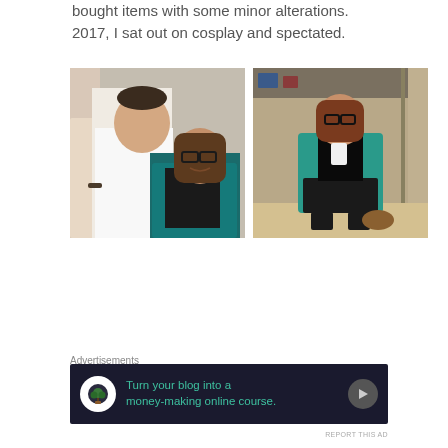bought items with some minor alterations. 2017, I sat out on cosplay and spectated.
[Figure (photo): Two people taking a selfie; a man in a white tank top and a woman with glasses and dark hair wearing a teal jacket]
[Figure (photo): Woman in a teal cardigan and black skirt taking a mirror selfie in a closet/dressing area]
Advertisements
[Figure (infographic): Dark advertisement banner: 'Turn your blog into a money-making online course.' with a bonsai tree icon and arrow button]
REPORT THIS AD